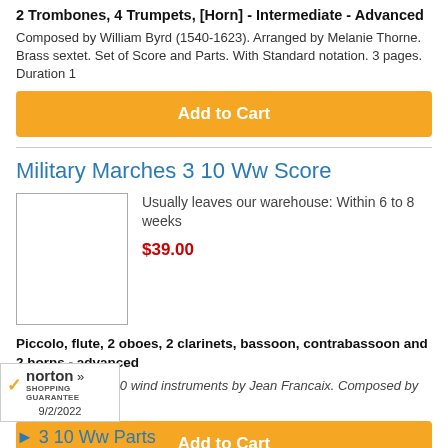2 Trombones, 4 Trumpets, [Horn] - Intermediate - Advanced
Composed by William Byrd (1540-1623). Arranged by Melanie Thorne. Brass sextet. Set of Score and Parts. With Standard notation. 3 pages. Duration 1
Add to Cart
Military Marches 3 10 Ww Score
Usually leaves our warehouse: Within 6 to 8 weeks
$39.00
Piccolo, flute, 2 oboes, 2 clarinets, bassoon, contrabassoon and 2 horns - advanced
Transcription for 10 wind instruments by Jean Francaix. Composed by Franz
Add to Cart
[Figure (logo): Norton Shopping Guarantee badge with checkmark, date 9/2/2022]